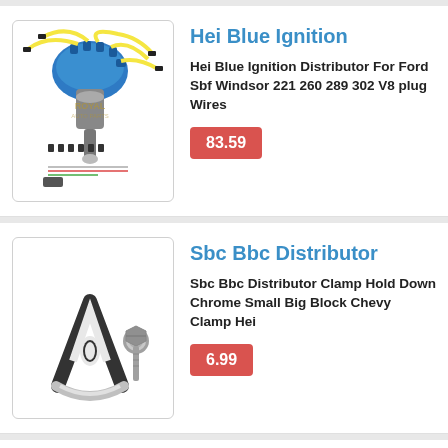[Figure (photo): HEI Blue ignition distributor with yellow spark plug wires and accessories, Royal Auto Parts branded]
Hei Blue Ignition
Hei Blue Ignition Distributor For Ford Sbf Windsor 221 260 289 302 V8 plug Wires
83.59
[Figure (photo): SBC BBC Distributor clamp hold down, black metal A-frame clamp and chrome bolt]
Sbc Bbc Distributor
Sbc Bbc Distributor Clamp Hold Down Chrome Small Big Block Chevy Clamp Hei
6.99
Ignition Distributor F...